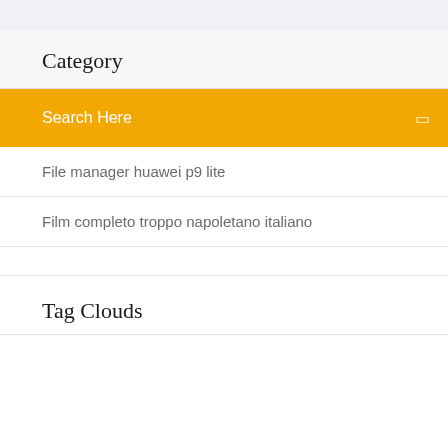Category
Search Here
File manager huawei p9 lite
Film completo troppo napoletano italiano
Tag Clouds